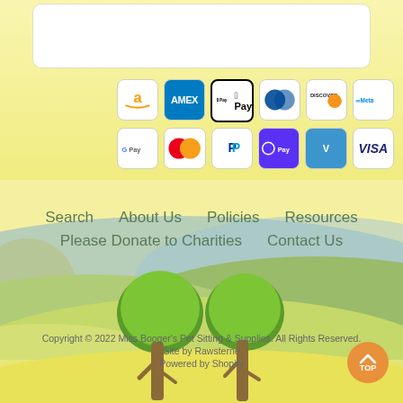[Figure (screenshot): White box placeholder at top of footer]
[Figure (infographic): Payment method icons: Amazon Pay, AMEX, Apple Pay, Diners Club, Discover, Meta Pay (top row); Google Pay, Mastercard, PayPal, Shop Pay, Venmo, VISA (bottom row)]
Search
About Us
Policies
Resources
Please Donate to Charities
Contact Us
[Figure (illustration): Illustrated landscape background with green hills, blue distant mountains, sun, and two cartoon trees in foreground]
Copyright © 2022 Miss Booger's Pet Sitting & Supplies. All Rights Reserved.
Site by Rawsterne
Powered by Shopify